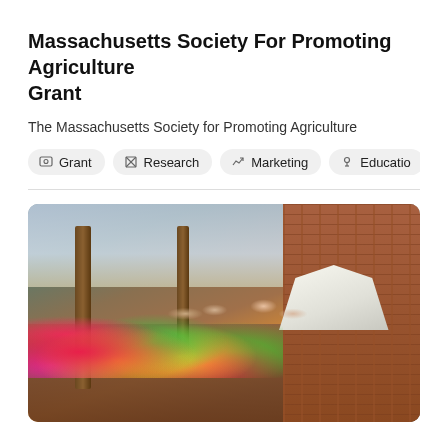Massachusetts Society For Promoting Agriculture Grant
The Massachusetts Society for Promoting Agriculture
Grant
Research
Marketing
Education
[Figure (photo): Outdoor farmers market or plant sale with colorful flowers displayed on a brick walkway, wooden pillars supporting a structure, and a white tent in the background. People are browsing the plants. Sunny day.]